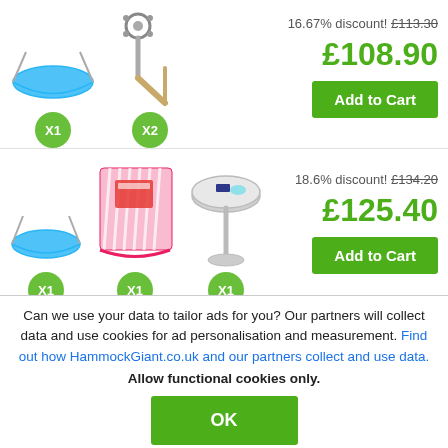[Figure (illustration): Bundle 1: hammock (x1) and wall mount bracket (x2) product images with green quantity badges]
16.67% discount! £113.30
£108.90
Add to Cart
[Figure (illustration): Bundle 2: hammock (x1), hammock accessories/bag (x1), and side table (x1) product images with green quantity badges]
18.6% discount! £134.20
£125.40
Add to Cart
Can we use your data to tailor ads for you? Our partners will collect data and use cookies for ad personalisation and measurement. Find out how HammockGiant.co.uk and our partners collect and use data. Allow functional cookies only.
OK